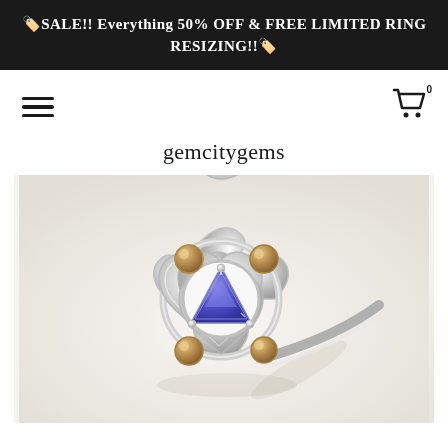🏷️SALE!! Everything 50% OFF & FREE LIMITED RING RESIZING!!🏷️
[Figure (screenshot): Navigation bar with hamburger menu icon on left and shopping cart icon with badge '0' on right]
gemcitygems
[Figure (photo): Close-up photo of a silver flower-shaped ring with a triangular blue tanzanite center stone surrounded by four round brown/champagne diamond accents set in heart-shaped petals, photographed on a light beige background]